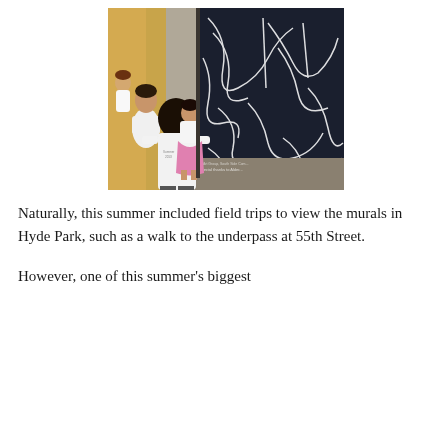[Figure (photo): Children looking at a large black and white mural on a wall at an underpass. The mural features intricate white drawings on a dark background. One child is wearing a white t-shirt with text on the back, another child is in a pink skirt. Credits on the mural mention South Side Community Art Group.]
Naturally, this summer included field trips to view the murals in Hyde Park, such as a walk to the underpass at 55th Street.
However, one of this summer's biggest